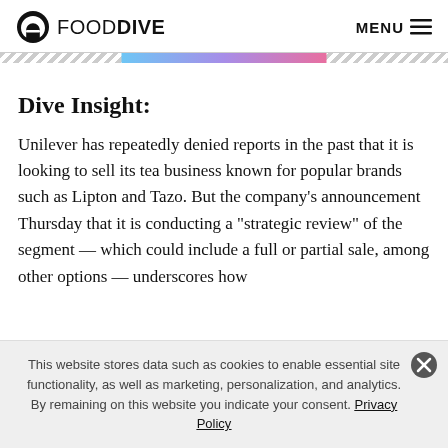FOOD DIVE  MENU
Dive Insight:
Unilever has repeatedly denied reports in the past that it is looking to sell its tea business known for popular brands such as Lipton and Tazo. But the company’s announcement Thursday that it is conducting a “strategic review” of the segment — which could include a full or partial sale, among other options — underscores how
This website stores data such as cookies to enable essential site functionality, as well as marketing, personalization, and analytics. By remaining on this website you indicate your consent. Privacy Policy